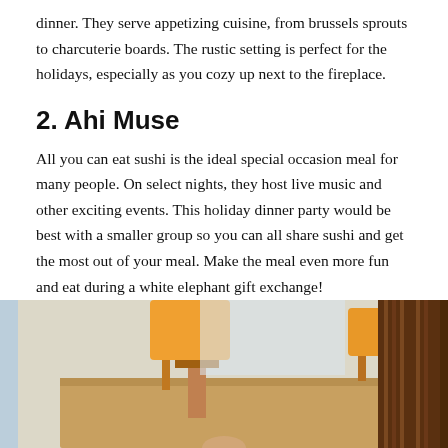dinner. They serve appetizing cuisine, from brussels sprouts to charcuterie boards. The rustic setting is perfect for the holidays, especially as you cozy up next to the fireplace.
2. Ahi Muse
All you can eat sushi is the ideal special occasion meal for many people. On select nights, they host live music and other exciting events. This holiday dinner party would be best with a smaller group so you can all share sushi and get the most out of your meal. Make the meal even more fun and eat during a white elephant gift exchange!
3. Communal
[Figure (photo): Interior photo of Communal restaurant showing warm orange pendant lamps, wooden slat wall panels, and a light blue/grey background with natural wood furniture.]